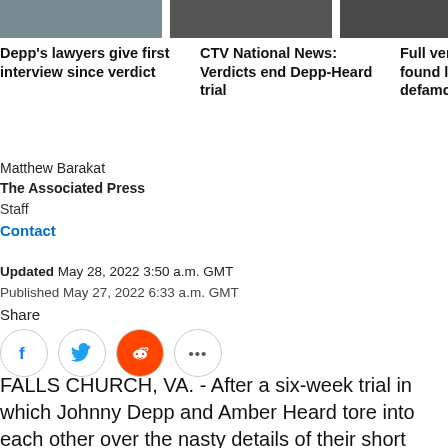[Figure (photo): Thumbnail image 1 - person face, cropped]
[Figure (photo): Thumbnail image 2 - person face, cropped]
[Figure (photo): Thumbnail image 3 - person face, cropped (partially clipped)]
Depp's lawyers give first interview since verdict
CTV National News: Verdicts end Depp-Heard trial
Full ver found l defamc
Matthew Barakat
The Associated Press
Staff
Contact
Updated May 28, 2022 3:50 a.m. GMT
Published May 27, 2022 6:33 a.m. GMT
Share
FALLS CHURCH, VA. - After a six-week trial in which Johnny Depp and Amber Heard tore into each other over the nasty details of their short marriage, both sides told a jury the exact same